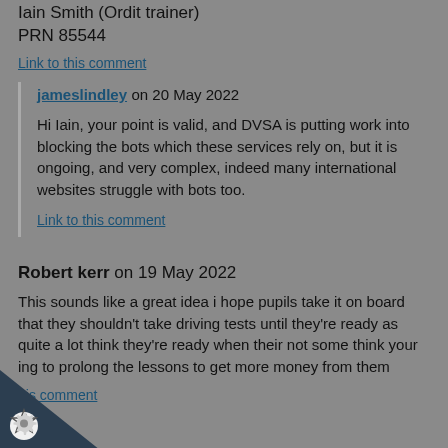Iain Smith (Ordit trainer)
PRN 85544
Link to this comment
jameslindley on 20 May 2022
Hi Iain, your point is valid, and DVSA is putting work into blocking the bots which these services rely on, but it is ongoing, and very complex, indeed many international websites struggle with bots too.
Link to this comment
Robert kerr on 19 May 2022
This sounds like a great idea i hope pupils take it on board that they shouldn't take driving tests until they're ready as quite a lot think they're ready when their not some think your ing to prolong the lessons to get more money from them
Link to this comment